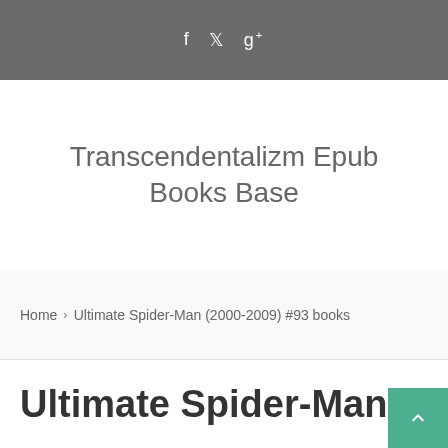f  ❧  g+
Transcendentalizm Epub Books Base
Home › Ultimate Spider-Man (2000-2009) #93 books
Ultimate Spider-Man